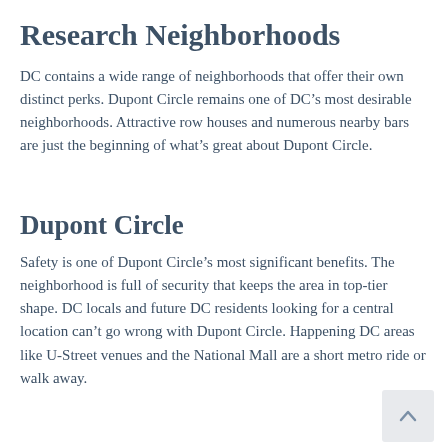Research Neighborhoods
DC contains a wide range of neighborhoods that offer their own distinct perks. Dupont Circle remains one of DC’s most desirable neighborhoods. Attractive row houses and numerous nearby bars are just the beginning of what’s great about Dupont Circle.
Dupont Circle
Safety is one of Dupont Circle’s most significant benefits. The neighborhood is full of security that keeps the area in top-tier shape. DC locals and future DC residents looking for a central location can’t go wrong with Dupont Circle. Happening DC areas like U-Street venues and the National Mall are a short metro ride or walk away.